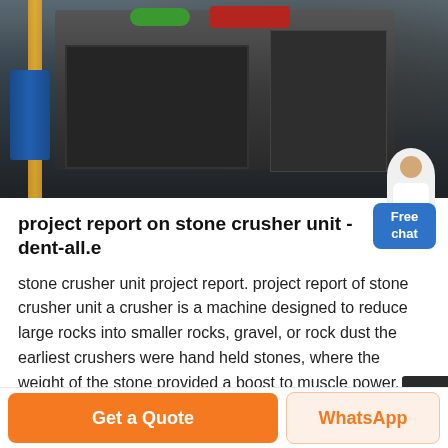[Figure (photo): Industrial stone crusher machine photographed in a factory/workshop setting. Dark heavy machinery with metal frames, green and red components visible at top, blue barrel on left side.]
project report on stone crusher unit - dent-all.e
stone crusher unit project report. project report of stone crusher unit a crusher is a machine designed to reduce large rocks into smaller rocks, gravel, or rock dust the earliest crushers were hand held stones, where the weight of the stone provided a boost to muscle power, used against a stone anvil cone crusher compound cone crusher cone ...